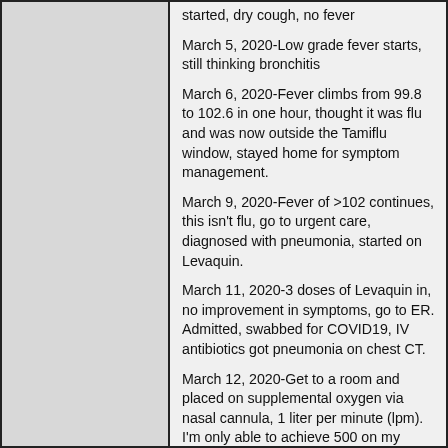started, dry cough, no fever
March 5, 2020-Low grade fever starts, still thinking bronchitis
March 6, 2020-Fever climbs from 99.8 to 102.6 in one hour, thought it was flu and was now outside the Tamiflu window, stayed home for symptom management.
March 9, 2020-Fever of >102 continues, this isn't flu, go to urgent care, diagnosed with pneumonia, started on Levaquin.
March 11, 2020-3 doses of Levaquin in, no improvement in symptoms, go to ER. Admitted, swabbed for COVID19, IV antibiotics got pneumonia on chest CT.
March 12, 2020-Get to a room and placed on supplemental oxygen via nasal cannula, 1 liter per minute (lpm). I'm only able to achieve 500 on my incentive spirometer, for perspective-my healthy lungs could hit 4000.
March 13, 2020-O2 saturation begins to decline, oxygen increased to 2 lpm, then 3 lpm, then 5 lpm. Oxygen saturation 88% on 5 lpm. The decision is made to